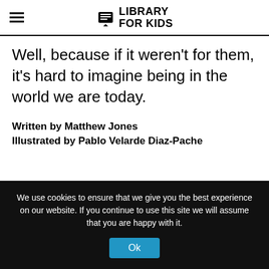Library For Kids
Well, because if it weren't for them, it's hard to imagine being in the world we are today.
Written by Matthew Jones
Illustrated by Pablo Velarde Diaz-Pache
We use cookies to ensure that we give you the best experience on our website. If you continue to use this site we will assume that you are happy with it.